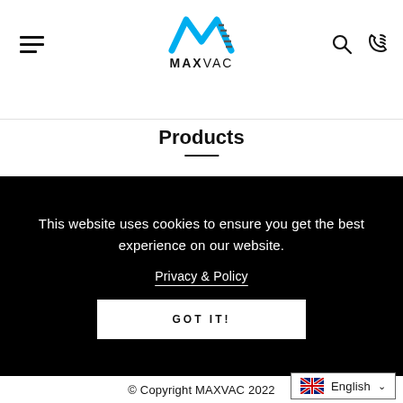MAXVAC (logo with hamburger menu, search and phone icons)
Products
This website uses cookies to ensure you get the best experience on our website.
Privacy & Policy
GOT IT!
© Copyright MAXVAC 2022
English